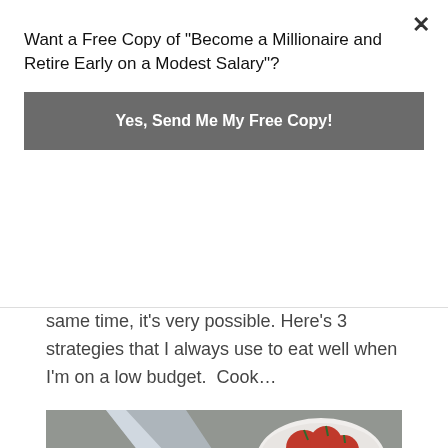Want a Free Copy of "Become a Millionaire and Retire Early on a Modest Salary"?
Yes, Send Me My Free Copy!
same time, it’s very possible. Here’s 3 strategies that I always use to eat well when I’m on a low budget.  Cook…
[Figure (photo): A knife cutting red peppers and chili peppers on a wooden cutting board, with a bowl of tomatoes and glass containers in the background. Cooking scene.]